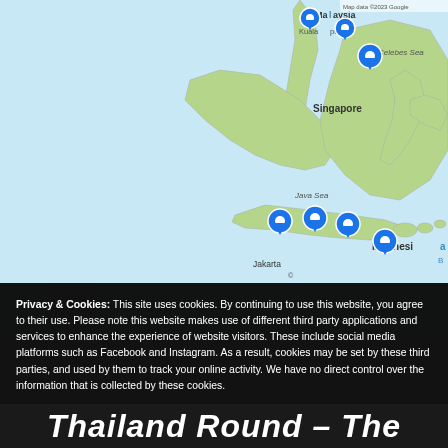[Figure (map): Google Maps view showing Southeast Asia including Malaysia, Singapore, Indonesia, with blue location pin markers near Kuala Lumpur, Singapore, Java/Bali area and other Indonesian islands. Java Sea and Celebes Sea labeled. Jakarta marked. Map has zoom controls.]
Privacy & Cookies: This site uses cookies. By continuing to use this website, you agree to their use. Please note this website makes use of different third party applications and services to enhance the experience of website visitors. These include social media platforms such as Facebook and Instagram. As a result, cookies may be set by these third parties, and used by them to track your online activity. We have no direct control over the information that is collected by these cookies.
This website uses WordPress and has Jetpack installed. To find out more, including how to control cookies, see here: Privacy Policy
Close and accept
Thailand Round – The